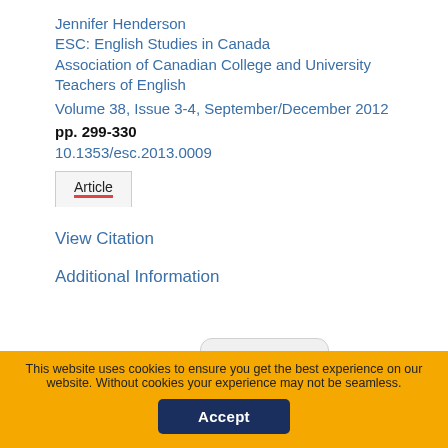Jennifer Henderson
ESC: English Studies in Canada
Association of Canadian College and University Teachers of English
Volume 38, Issue 3-4, September/December 2012
pp. 299-330
10.1353/esc.2013.0009
Article
View Citation
Additional Information
collapse
You are not currently authenticated.
If you would like to authenticate using a different subscribed institution or
This website uses cookies to ensure you get the best experience on our website. Without cookies your experience may not be seamless.
Accept